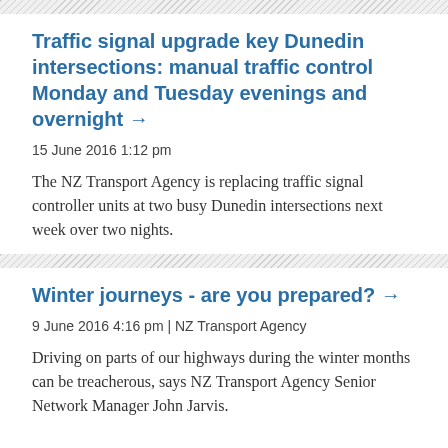Traffic signal upgrade key Dunedin intersections: manual traffic control Monday and Tuesday evenings and overnight →
15 June 2016 1:12 pm
The NZ Transport Agency is replacing traffic signal controller units at two busy Dunedin intersections next week over two nights.
Winter journeys - are you prepared? →
9 June 2016 4:16 pm | NZ Transport Agency
Driving on parts of our highways during the winter months can be treacherous, says NZ Transport Agency Senior Network Manager John Jarvis.